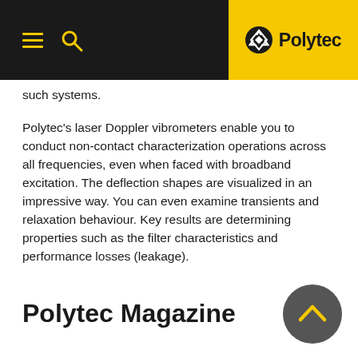Polytec
such systems.
Polytec's laser Doppler vibrometers enable you to conduct non-contact characterization operations across all frequencies, even when faced with broadband excitation. The deflection shapes are visualized in an impressive way. You can even examine transients and relaxation behaviour. Key results are determining properties such as the filter characteristics and performance losses (leakage).
Polytec Magazine